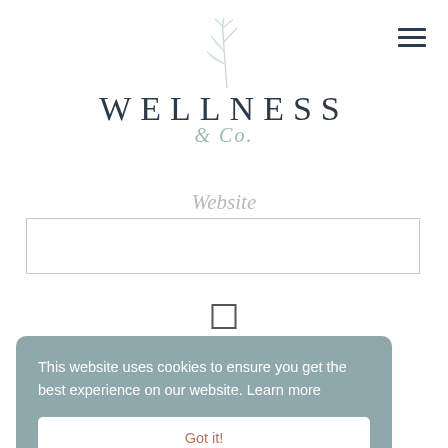[Figure (logo): Wellness & Co. logo with a leaf/branch illustration above the text. 'WELLNESS' in large spaced serif capitals, '& Co.' in italic script below, in muted teal/gray.]
Website
osite in this omment.
This website uses cookies to ensure you get the best experience on our website. Learn more
Got it!
Post Comment